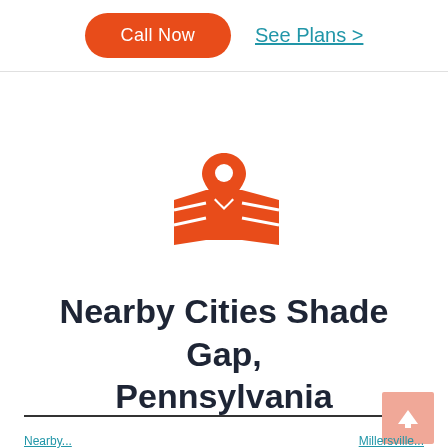Call Now
See Plans >
[Figure (illustration): Orange map pin / location icon with a folded map underneath]
Nearby Cities Shade Gap, Pennsylvania
Nearby ... (bottom links)